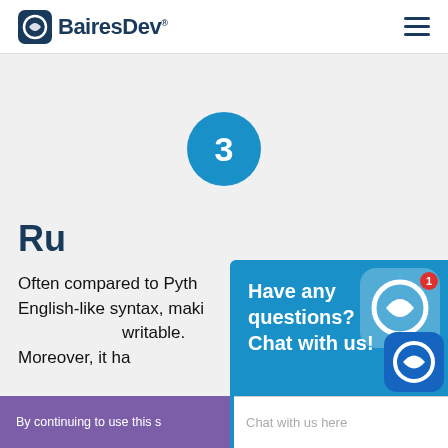BairesDev
[Figure (infographic): Blue circle with number 3 step indicator]
Ru...
Often compared to Python for its English-like syntax, making it readable and writable. Moreover, it ha...
[Figure (screenshot): BairesDev chat widget overlay with text 'Have any questions? Chat with us!' and BairesDev logo icons]
By continuing to use this s...
Chat with us here